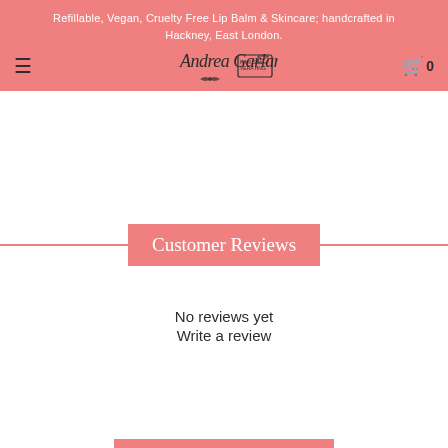Refillable, Vegan, Cruelty Free Lip Balm & Skincare; handcrafted in Hackney, East London.
[Figure (logo): Andrea Garland brand logo with signature and label graphic]
Customer Reviews
No reviews yet
Write a review
You might like these too....